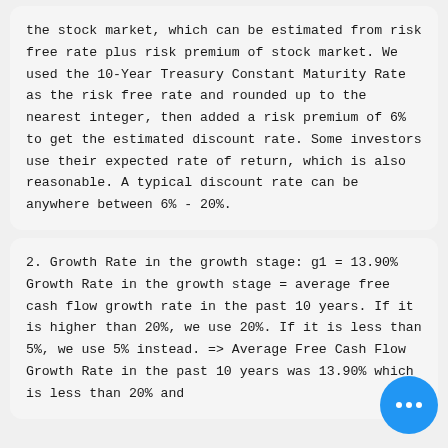the stock market, which can be estimated from risk free rate plus risk premium of stock market. We used the 10-Year Treasury Constant Maturity Rate as the risk free rate and rounded up to the nearest integer, then added a risk premium of 6% to get the estimated discount rate. Some investors use their expected rate of return, which is also reasonable. A typical discount rate can be anywhere between 6% - 20%.
2. Growth Rate in the growth stage: g1 = 13.90%
Growth Rate in the growth stage = average free cash flow growth rate in the past 10 years. If it is higher than 20%, we use 20%. If it is less than 5%, we use 5% instead. => Average Free Cash Flow Growth Rate in the past 10 years was 13.90% which is less than 20% and